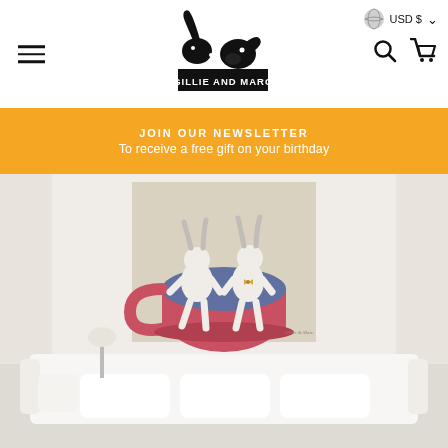Gillie and Marc — USD $ — Navigation header
JOIN OUR NEWSLETTER
To receive a free gift on your birthday
[Figure (photo): A painting by Gillie and Marc showing two rabbit-human hybrid figures sitting inside a large red teacup, displayed on a wall above a white sofa with cushions in a bright room setting.]